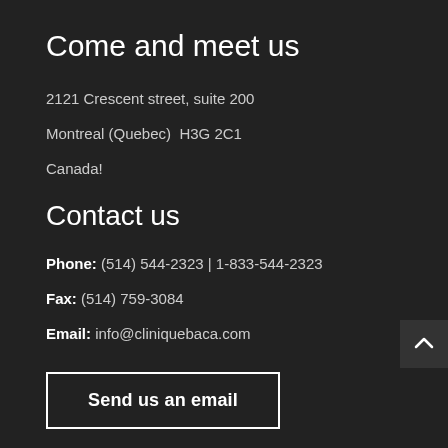Come and meet us
2121 Crescent street, suite 200
Montreal (Quebec)  H3G 2C1
Canada!
Contact us
Phone: (514) 544-2323 | 1-833-544-2323
Fax: (514) 759-3084
Email: info@cliniquebaca.com
Send us an email